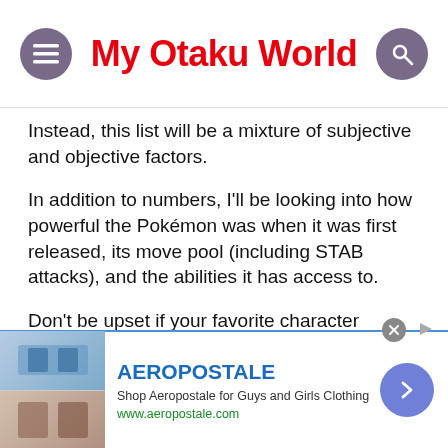My Otaku World
Instead, this list will be a mixture of subjective and objective factors.
In addition to numbers, I'll be looking into how powerful the Pokémon was when it was first released, its move pool (including STAB attacks), and the abilities it has access to.
Don't be upset if your favorite character doesn't make the cut. There are a lot of powerful non-legendary characters out there.
[Figure (screenshot): Aeropostale advertisement banner with clothing images, brand name, tagline 'Shop Aeropostale for Guys and Girls Clothing', URL www.aeropostale.com, and a navigation arrow button]